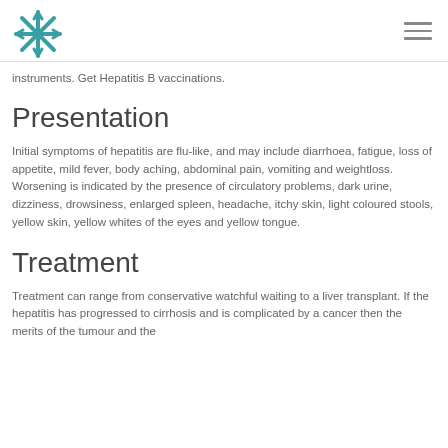instruments. Get Hepatitis B vaccinations.
Presentation
Initial symptoms of hepatitis are flu-like, and may include diarrhoea, fatigue, loss of appetite, mild fever, body aching, abdominal pain, vomiting and weightloss. Worsening is indicated by the presence of circulatory problems, dark urine, dizziness, drowsiness, enlarged spleen, headache, itchy skin, light coloured stools, yellow skin, yellow whites of the eyes and yellow tongue.
Treatment
Treatment can range from conservative watchful waiting to a liver transplant. If the hepatitis has progressed to cirrhosis and is complicated by a cancer then the merits of the tumour and the